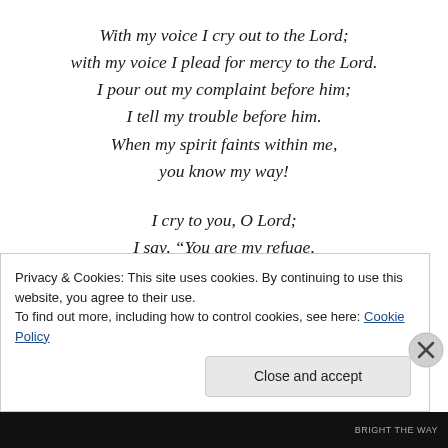With my voice I cry out to the Lord;
with my voice I plead for mercy to the Lord.
I pour out my complaint before him;
I tell my trouble before him.
When my spirit faints within me,
you know my way!

I cry to you, O Lord;
I say, “You are my refuge,
my portion in the land of the living.”
Privacy & Cookies: This site uses cookies. By continuing to use this website, you agree to their use.
To find out more, including how to control cookies, see here: Cookie Policy
Close and accept